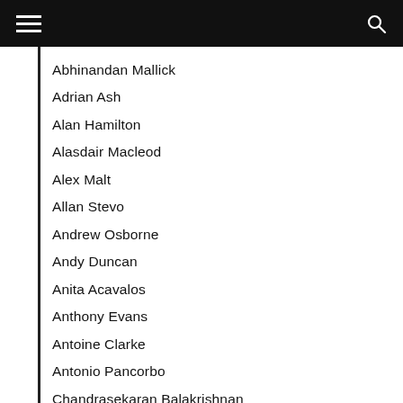Abhinandan Mallick
Adrian Ash
Alan Hamilton
Alasdair Macleod
Alex Malt
Allan Stevo
Andrew Osborne
Andy Duncan
Anita Acavalos
Anthony Evans
Antoine Clarke
Antonio Pancorbo
Chandrasekaran Balakrishnan
Ben Davies